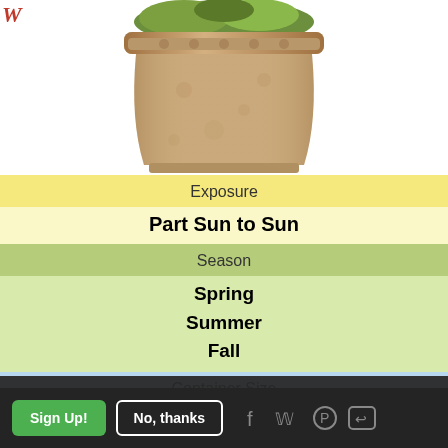[Figure (photo): Decorative terracotta/stone urn planter with ornate raised pattern, filled with green plants, partial logo visible at top left]
| Exposure | Part Sun to Sun |
| Season | Spring
Summer
Fall |
| Container Size | 14 Inches |
| Color Scheme | Monochromatic |
Sign up for our Winners Circle Newsletter! Get how-to strategies and tips from our experts, delivered to you each month!
Sign Up!
No, thanks